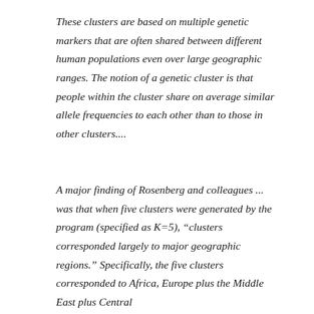These clusters are based on multiple genetic markers that are often shared between different human populations even over large geographic ranges. The notion of a genetic cluster is that people within the cluster share on average similar allele frequencies to each other than to those in other clusters....
A major finding of Rosenberg and colleagues ... was that when five clusters were generated by the program (specified as K=5), "clusters corresponded largely to major geographic regions." Specifically, the five clusters corresponded to Africa, Europe plus the Middle East plus Central